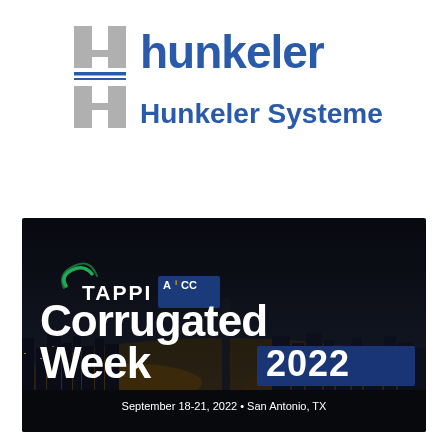[Figure (logo): Hunkeler / Hunkeler Systeme logo with stylized 'H' mark in grey and blue text]
[Figure (photo): TAPPI AICC Corrugated Week 2022 event banner over San Antonio TX night skyline. Text reads: TAPPI AICC Corrugated Week 2022, September 18-21, 2022 • San Antonio, TX]